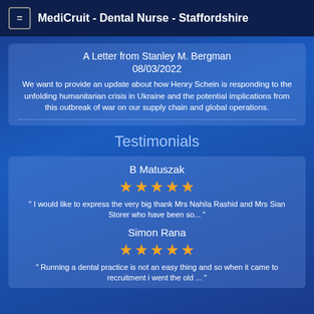MediCruit - Dental Nurse - Staffordshire
A Letter from Stanley M. Bergman
08/03/2022
We want to provide an update about how Henry Schein is responding to the unfolding humanitarian crisis in Ukraine and the potential implications from this outbreak of war on our supply chain and global operations.
Testimonials
B Matuszak
" I would like to express the very big thank Mrs Nahila Rashid and Mrs Sian Storer who have been so... "
Simon Rana
" Running a dental practice is not an easy thing and so when it came to recruitment i went the old ... "